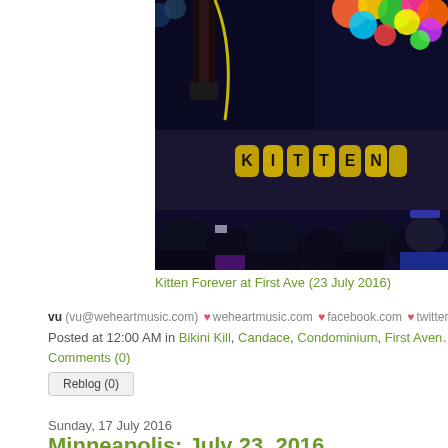[Figure (photo): Concert photo showing 'Kitten Forever' gold balloon letters on stage with audience in foreground and colorful balloons in background, performer's legs visible on stage]
Kitten Forever at First Ave (23 July 2016)
vu (vu@weheartmusic.com) ♥ weheartmusic.com ♥ facebook.com ♥ twitter.com/wehear…
Posted at 12:00 AM in Bikini Kill, Candace, Condominium, First Aven…
Comments (0)
Reblog (0)
Sunday, 17 July 2016
Minneapolis: July 23, 2016